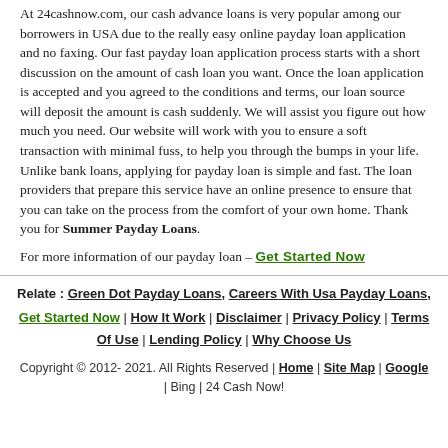At 24cashnow.com, our cash advance loans is very popular among our borrowers in USA due to the really easy online payday loan application and no faxing. Our fast payday loan application process starts with a short discussion on the amount of cash loan you want. Once the loan application is accepted and you agreed to the conditions and terms, our loan source will deposit the amount is cash suddenly. We will assist you figure out how much you need. Our website will work with you to ensure a soft transaction with minimal fuss, to help you through the bumps in your life. Unlike bank loans, applying for payday loan is simple and fast. The loan providers that prepare this service have an online presence to ensure that you can take on the process from the comfort of your own home. Thank you for Summer Payday Loans.
For more information of our payday loan – Get Started Now
Relate : Green Dot Payday Loans, Careers With Usa Payday Loans, | Get Started Now | How It Work | Disclaimer | Privacy Policy | Terms Of Use | Lending Policy | Why Choose Us | Copyright © 2012- 2021. All Rights Reserved | Home | Site Map | Google | Bing | 24 Cash Now!